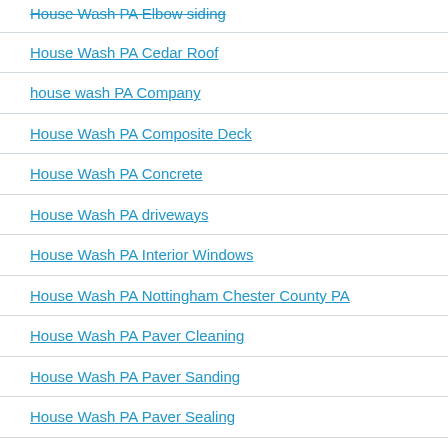House Wash PA Elbow siding
House Wash PA Cedar Roof
house wash PA Company
House Wash PA Composite Deck
House Wash PA Concrete
House Wash PA driveways
House Wash PA Interior Windows
House Wash PA Nottingham Chester County PA
House Wash PA Paver Cleaning
House Wash PA Paver Sanding
House Wash PA Paver Sealing
House Wash PA Stucco siding